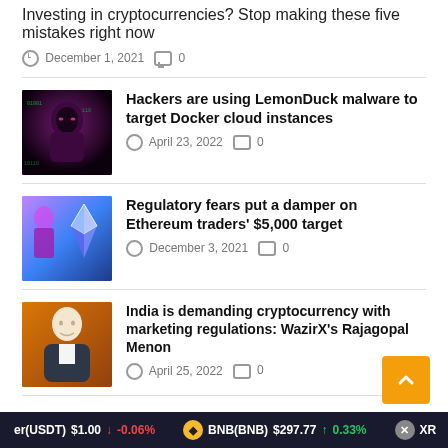Investing in cryptocurrencies? Stop making these five mistakes right now
December 1, 2021  0
Hackers are using LemonDuck malware to target Docker cloud instances
April 23, 2022  0
Regulatory fears put a damper on Ethereum traders' $5,000 target
December 3, 2021  0
India is demanding cryptocurrency with marketing regulations: WazirX's Rajagopal Menon
April 25, 2022  0
er(USDT) $1.00 ↓ -0.06%   BNB(BNB) $297.77 ↑ 0.33%   XR